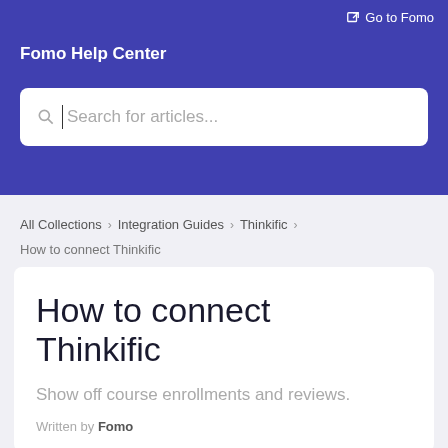Go to Fomo
Fomo Help Center
[Figure (screenshot): Search bar with placeholder text 'Search for articles...']
All Collections > Integration Guides > Thinkific
How to connect Thinkific
How to connect Thinkific
Show off course enrollments and reviews.
Written by Fomo